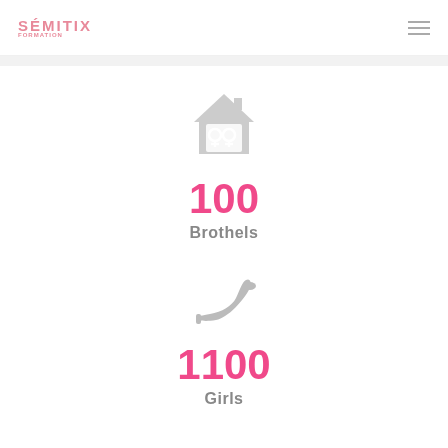SÉMITIX
[Figure (illustration): House icon with two female symbols (♀♀) on it, gray colored]
100
Brothels
[Figure (illustration): High heel shoe icon, gray colored]
1100
Girls